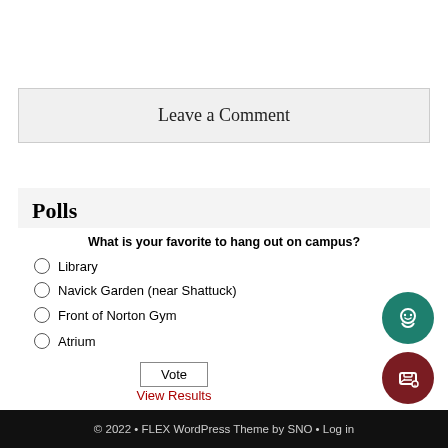Leave a Comment
Polls
What is your favorite to hang out on campus?
Library
Navick Garden (near Shattuck)
Front of Norton Gym
Atrium
Vote
View Results
© 2022 • FLEX WordPress Theme by SNO • Log in